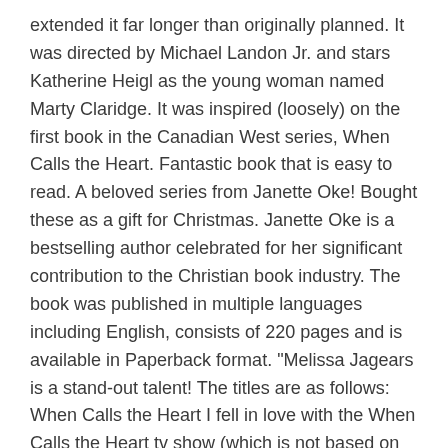extended it far longer than originally planned. It was directed by Michael Landon Jr. and stars Katherine Heigl as the young woman named Marty Claridge. It was inspired (loosely) on the first book in the Canadian West series, When Calls the Heart. Fantastic book that is easy to read. A beloved series from Janette Oke! Bought these as a gift for Christmas. Janette Oke is a bestselling author celebrated for her significant contribution to the Christian book industry. The book was published in multiple languages including English, consists of 220 pages and is available in Paperback format. "Melissa Jagears is a stand-out talent! The titles are as follows: When Calls the Heart I fell in love with the When Calls the Heart tv show (which is not based on this book see When Courage Calls) and I decided to read one of Jeanette Oke's books. Uh-oh, it looks like your Internet Explorer is out of date. She writes several series, including the Love Comes Softly, Seasons of the Heart, Canadian West, Women of the